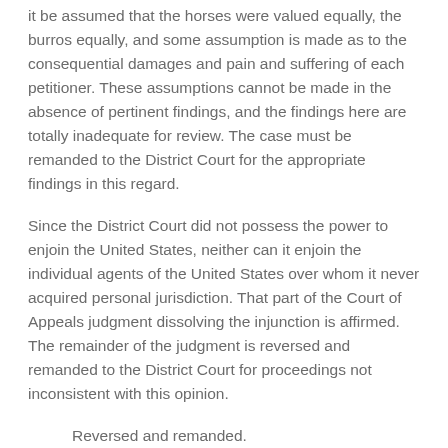it be assumed that the horses were valued equally, the burros equally, and some assumption is made as to the consequential damages and pain and suffering of each petitioner. These assumptions cannot be made in the absence of pertinent findings, and the findings here are totally inadequate for review. The case must be remanded to the District Court for the appropriate findings in this regard.
Since the District Court did not possess the power to enjoin the United States, neither can it enjoin the individual agents of the United States over whom it never acquired personal jurisdiction. That part of the Court of Appeals judgment dissolving the injunction is affirmed. The remainder of the judgment is reversed and remanded to the District Court for proceedings not inconsistent with this opinion.
Reversed and remanded.
Footnotes